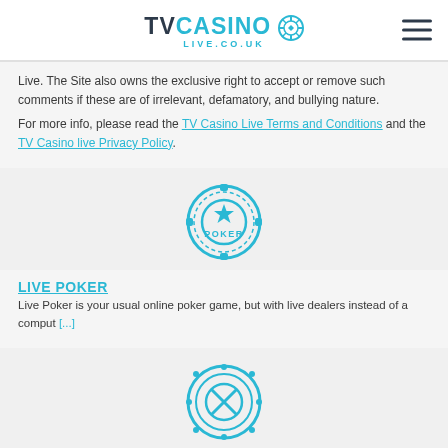TVCASINO LIVE.CO.UK
Live. The Site also owns the exclusive right to accept or remove such comments if these are of irrelevant, defamatory, and bullying nature.

For more info, please read the TV Casino Live Terms and Conditions and the TV Casino live Privacy Policy.
[Figure (illustration): Cyan/teal poker chip icon with 'POKER' text and star in the center]
LIVE POKER
Live Poker is your usual online poker game, but with live dealers instead of a comput [...]
[Figure (illustration): Cyan/teal roulette chip/button icon with X in the center]
LIVE ROULETTE
Do you feel that an online roulette's results are always rigged? Then try out the Li [...]